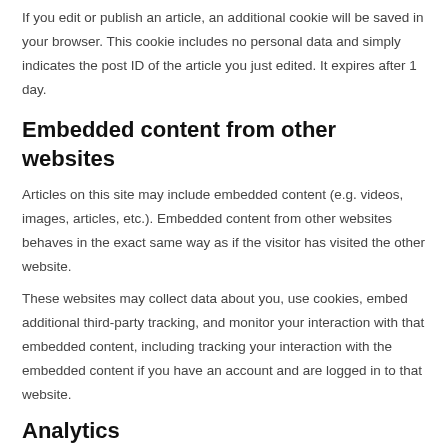If you edit or publish an article, an additional cookie will be saved in your browser. This cookie includes no personal data and simply indicates the post ID of the article you just edited. It expires after 1 day.
Embedded content from other websites
Articles on this site may include embedded content (e.g. videos, images, articles, etc.). Embedded content from other websites behaves in the exact same way as if the visitor has visited the other website.
These websites may collect data about you, use cookies, embed additional third-party tracking, and monitor your interaction with that embedded content, including tracking your interaction with the embedded content if you have an account and are logged in to that website.
Analytics